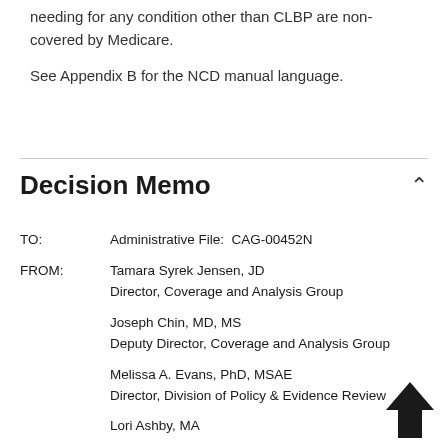needing for any condition other than CLBP are non-covered by Medicare.
See Appendix B for the NCD manual language.
Decision Memo
TO:    Administrative File:  CAG-00452N

FROM:  Tamara Syrek Jensen, JD
       Director, Coverage and Analysis Group

       Joseph Chin, MD, MS
       Deputy Director, Coverage and Analysis Group

       Melissa A. Evans, PhD, MSAE
       Director, Division of Policy & Evidence Review

       Lori Ashby, MA